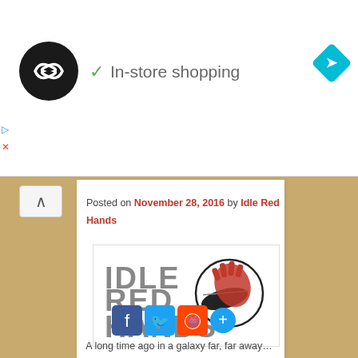[Figure (logo): Circular logo with infinity-style symbol on black background]
✓  In-store shopping
[Figure (logo): Blue diamond with right-turn arrow icon]
Posted on November 28, 2016 by Idle Red Hands
[Figure (logo): Idle Red Hands logo — bold sci-fi styled text with storm-trooper helmet and red hand print]
A long time ago in a galaxy far, far away…